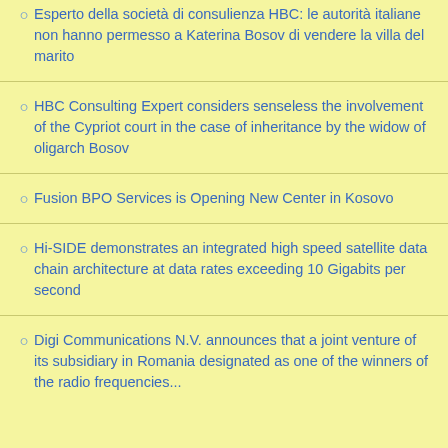Esperto della società di consulienza HBC: le autorità italiane non hanno permesso a Katerina Bosov di vendere la villa del marito
HBC Consulting Expert considers senseless the involvement of the Cypriot court in the case of inheritance by the widow of oligarch Bosov
Fusion BPO Services is Opening New Center in Kosovo
Hi-SIDE demonstrates an integrated high speed satellite data chain architecture at data rates exceeding 10 Gigabits per second
Digi Communications N.V. announces that a joint venture of its subsidiary in Romania designated as one of the winners of the radio frequencies...